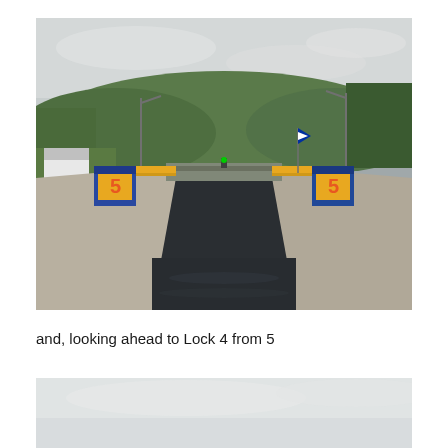[Figure (photo): Canal lock photograph showing Lock 5 viewed from water level. Two yellow lock machinery structures labeled '5' are visible on both left and right concrete walls. A gate spans across the canal ahead. Green hills and trees are visible in the background under an overcast sky. A white building is on the left bank.]
and, looking ahead to Lock 4 from 5
[Figure (photo): Partial photograph showing the top portion of a second canal lock scene, with a pale overcast sky visible. Only the top edge of the image is visible.]